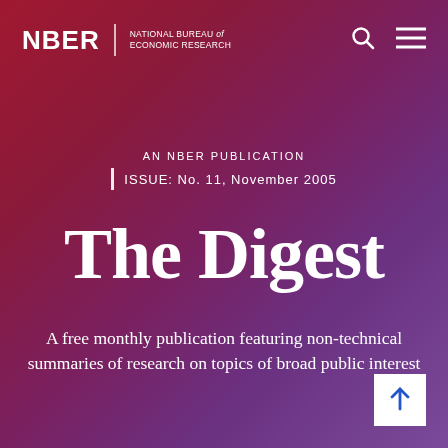NBER | NATIONAL BUREAU of ECONOMIC RESEARCH
AN NBER PUBLICATION
ISSUE: No. 11, November 2005
The Digest
A free monthly publication featuring non-technical summaries of research on topics of broad public interest